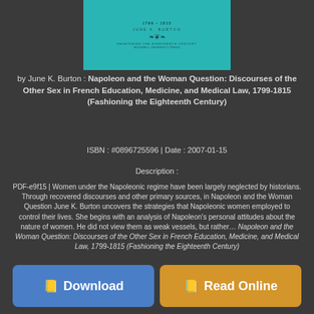[Figure (illustration): Book cover with teal/turquoise background showing title text and ornamental design]
by June K. Burton : Napoleon and the Woman Question: Discourses of the Other Sex in French Education, Medicine, and Medical Law, 1799-1815 (Fashioning the Eighteenth Century)
ISBN : #0896725596 | Date : 2007-01-15
Description :
PDF-e9f15 | Women under the Napoleonic regime have been largely neglected by historians. Through recovered discourses and other primary sources, in Napoleon and the Woman Question June K. Burton uncovers the strategies that Napoleonic women employed to control their lives. She begins with an analysis of Napoleon's personal attitudes about the nature of women. He did not view them as weak vessels, but rather… Napoleon and the Woman Question: Discourses of the Other Sex in French Education, Medicine, and Medical Law, 1799-1815 (Fashioning the Eighteenth Century)